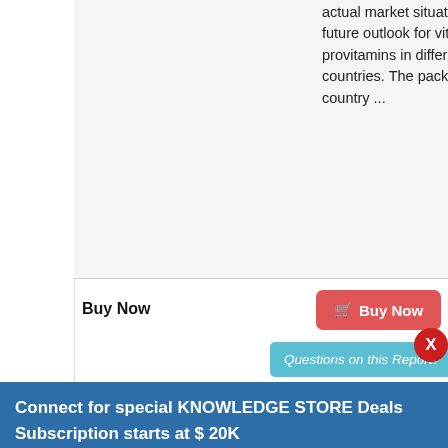actual market situation, and future outlook for vitamins and provitamins in different African countries. The package includes country ...
Buy Now
🛒 Buy Now
Questions on this Report?
X
Connect for special KNOWLEDGE STORE Deals
Subscription starts at $ 20K
2022
Published in Mar 2018 | US $ 4788 Onwards | By Global Research and Data Services
X
Buy Any Report Avail 20% Code:
Leave a message